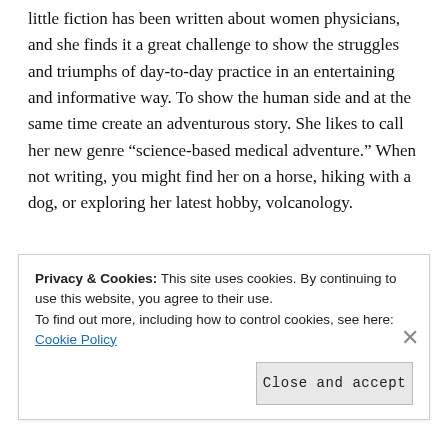little fiction has been written about women physicians, and she finds it a great challenge to show the struggles and triumphs of day-to-day practice in an entertaining and informative way. To show the human side and at the same time create an adventurous story. She likes to call her new genre “science-based medical adventure.” When not writing, you might find her on a horse, hiking with a dog, or exploring her latest hobby, volcanology.
Privacy & Cookies: This site uses cookies. By continuing to use this website, you agree to their use.
To find out more, including how to control cookies, see here: Cookie Policy